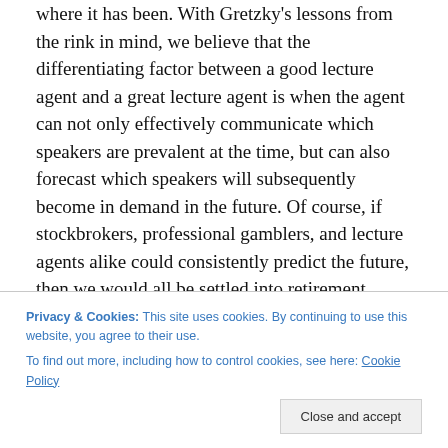where it has been. With Gretzky's lessons from the rink in mind, we believe that the differentiating factor between a good lecture agent and a great lecture agent is when the agent can not only effectively communicate which speakers are prevalent at the time, but can also forecast which speakers will subsequently become in demand in the future. Of course, if stockbrokers, professional gamblers, and lecture agents alike could consistently predict the future, then we would all be settled into retirement. Peering into a crystal ball and seeing the future
Privacy & Cookies: This site uses cookies. By continuing to use this website, you agree to their use. To find out more, including how to control cookies, see here: Cookie Policy
demand curves for years and recognize the catalyst